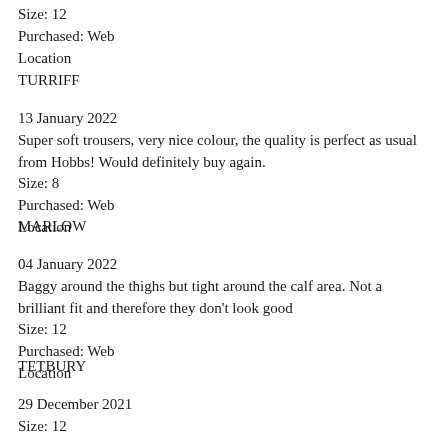Size: 12
Purchased: Web
Location
TURRIFF
13 January 2022
Super soft trousers, very nice colour, the quality is perfect as usual from Hobbs! Would definitely buy again.
Size: 8
Purchased: Web
Location
MARLOW
04 January 2022
Baggy around the thighs but tight around the calf area. Not a brilliant fit and therefore they don’t look good
Size: 12
Purchased: Web
Location
TETBURY
29 December 2021
Size: 12